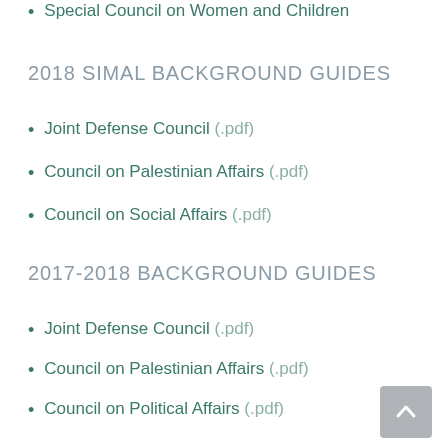Special Council on Women and Children
2018 SIMAL BACKGROUND GUIDES
Joint Defense Council (.pdf)
Council on Palestinian Affairs (.pdf)
Council on Social Affairs (.pdf)
2017-2018 BACKGROUND GUIDES
Joint Defense Council (.pdf)
Council on Palestinian Affairs (.pdf)
Council on Political Affairs (.pdf)
Council of Arab Social Affairs Ministers (.pdf)
Council of Environmental Affairs